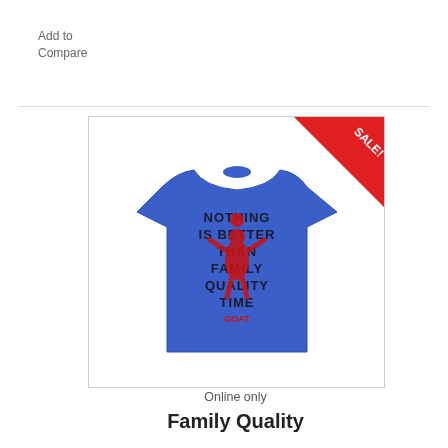Add to Compare
[Figure (photo): Blue t-shirt with text 'NOTHING IS BETTER THAN FAMILY QUALITY TIME' with a basketball player silhouette graphic, shown with a red SALE! banner in the top right corner]
Online only
Family Quality